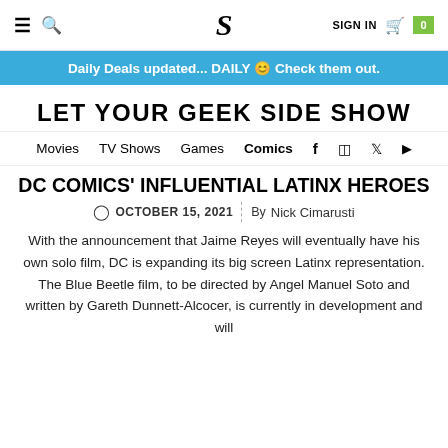≡  🔍  S  SIGN IN  🛒  0
Daily Deals updated... DAILY 😊 Check them out.
LET YOUR GEEK SIDE SHOW
Movies  TV Shows  Games  Comics  f  📷  🐦  ▶
DC COMICS' INFLUENTIAL LATINX HEROES
🕐 OCTOBER 15, 2021 | By Nick Cimarusti
With the announcement that Jaime Reyes will eventually have his own solo film, DC is expanding its big screen Latinx representation. The Blue Beetle film, to be directed by Angel Manuel Soto and written by Gareth Dunnett-Alcocer, is currently in development and will